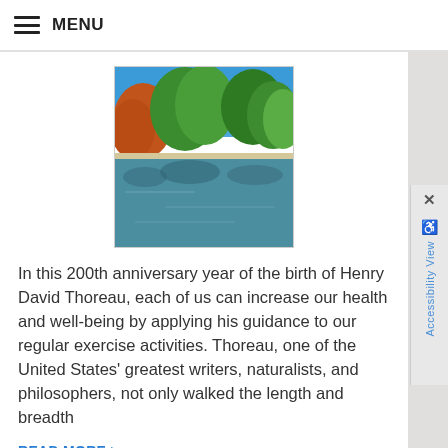MENU
[Figure (photo): A nature scene showing a lake or pond with green trees reflecting on the water surface under a blue sky.]
In this 200th anniversary year of the birth of Henry David Thoreau, each of us can increase our health and well-being by applying his guidance to our regular exercise activities. Thoreau, one of the United States' greatest writers, naturalists, and philosophers, not only walked the length and breadth
READ MORE >
Making the Grade
Category: Newsletter Library, Breaking Bad Habits